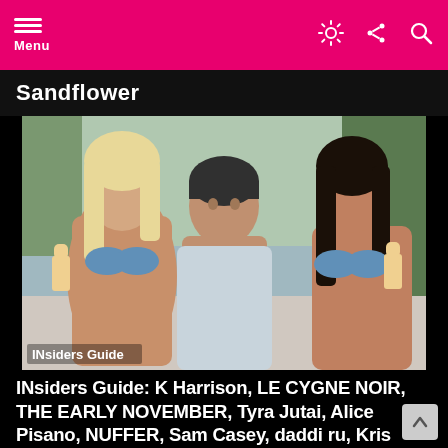Menu
Sandflower
[Figure (photo): Three people posed together outdoors near a pool: a blonde woman in a blue bikini on the left holding a drink, a young man in the center wearing an open robe, and a brunette woman in a blue bikini on the right holding a drink. Text overlay at bottom-left reads 'INsiders Guide'.]
INsiders Guide: K Harrison, LE CYGNE NOIR, THE EARLY NOVEMBER, Tyra Jutai, Alice Pisano, NUFFER, Sam Casey, daddi ru, Kris “Halo” Pierce, Amaris, The Happy Fits…